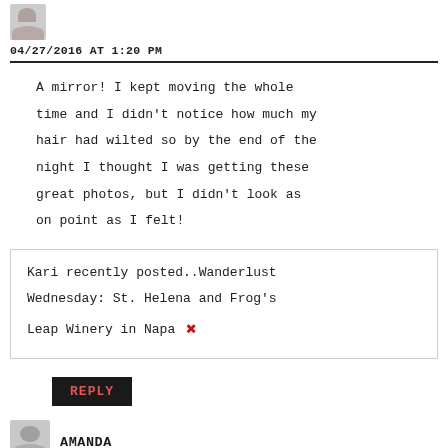[Figure (photo): Small avatar photo thumbnail at top left]
04/27/2016 AT 1:20 PM
A mirror! I kept moving the whole time and I didn't notice how much my hair had wilted so by the end of the night I thought I was getting these great photos, but I didn't look as on point as I felt!
Kari recently posted..Wanderlust Wednesday: St. Helena and Frog's Leap Winery in Napa
REPLY
[Figure (illustration): Generic user avatar icon (gray silhouette)]
AMANDA
04/27/2016 AT 3:00 PM